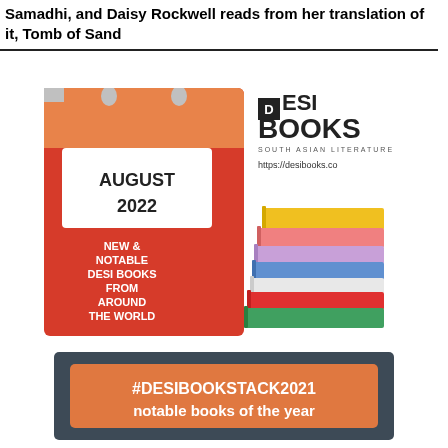Samadhi, and Daisy Rockwell reads from her translation of it, Tomb of Sand
[Figure (infographic): Red calendar-style card showing 'AUGUST 2022' at the top and 'NEW & NOTABLE DESI BOOKS FROM AROUND THE WORLD' at the bottom, with '#DESIBOOKSRECO' written vertically on the right side. Next to it: Desi Books logo with 'SOUTH ASIAN LITERATURE' and 'https://desibooks.co', plus an illustration of a colorful stack of books.]
[Figure (infographic): Dark grey banner with an orange box inside containing '#DESIBOOKSTACK2021 notable books of the year' in white bold text.]